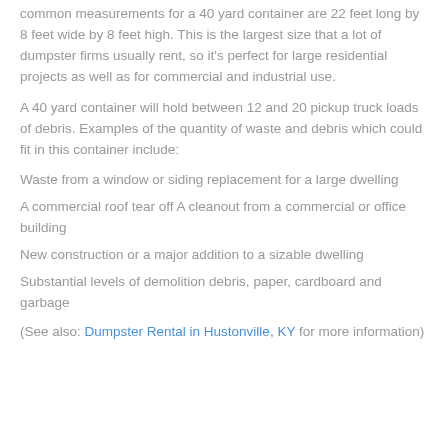common measurements for a 40 yard container are 22 feet long by 8 feet wide by 8 feet high. This is the largest size that a lot of dumpster firms usually rent, so it's perfect for large residential projects as well as for commercial and industrial use.
A 40 yard container will hold between 12 and 20 pickup truck loads of debris. Examples of the quantity of waste and debris which could fit in this container include:
Waste from a window or siding replacement for a large dwelling
A commercial roof tear off A cleanout from a commercial or office building
New construction or a major addition to a sizable dwelling
Substantial levels of demolition debris, paper, cardboard and garbage
(See also: Dumpster Rental in Hustonville, KY for more information)